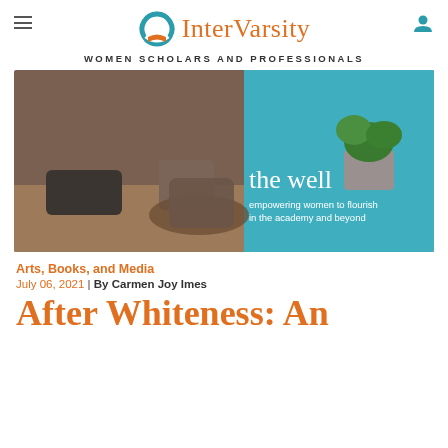InterVarsity — WOMEN SCHOLARS AND PROFESSIONALS
[Figure (photo): Banner image of two people holding coffee mugs across a table with a plant in the background, overlaid with text 'the well — empowering women to flourish in the academy and beyond']
Arts, Books, and Media
July 06, 2021 | By Carmen Joy Imes
After Whiteness: An